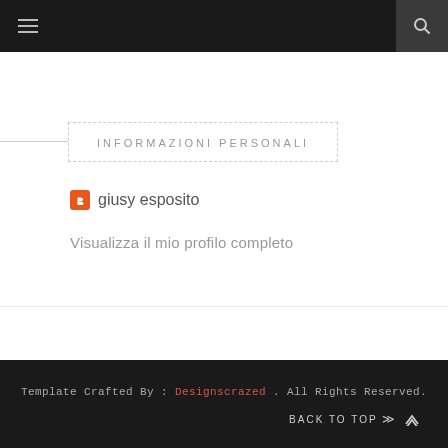☰ [hamburger menu] | [search icon]
INFORMAZIONI PERSONALI
giusy esposito
Visualizza il mio profilo completo
Template Crafted By : Designscrazed . All Rights Reserved. BACK TO TOP ⋀